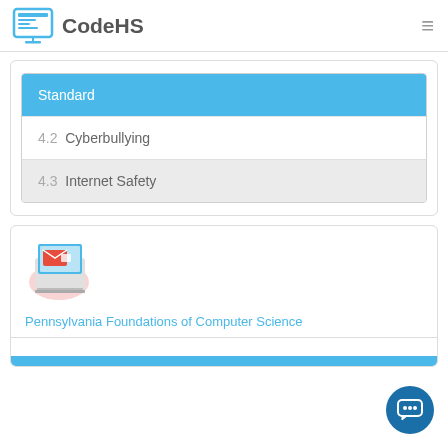CodeHS
Standard
4.2  Cyberbullying
4.3  Internet Safety
[Figure (logo): Laptop with red email illustration icon]
Pennsylvania Foundations of Computer Science